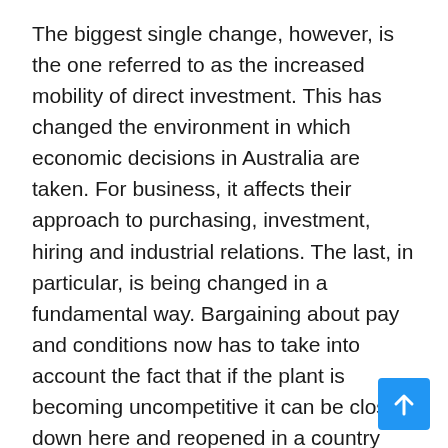The biggest single change, however, is the one referred to as the increased mobility of direct investment. This has changed the environment in which economic decisions in Australia are taken. For business, it affects their approach to purchasing, investment, hiring and industrial relations. The last, in particular, is being changed in a fundamental way. Bargaining about pay and conditions now has to take into account the fact that if the plant is becoming uncompetitive it can be closed down here and reopened in a country with a lower cost structure, such as Thailand or Indonesia. Recently the union in a Melbourne food processing plant reached an agreement which conceded significant changes in conditions, partly because it knew that the alternative for the company was to shift this line of production to New Zealand. The international standard will become increasingly the norm in industrial relations.